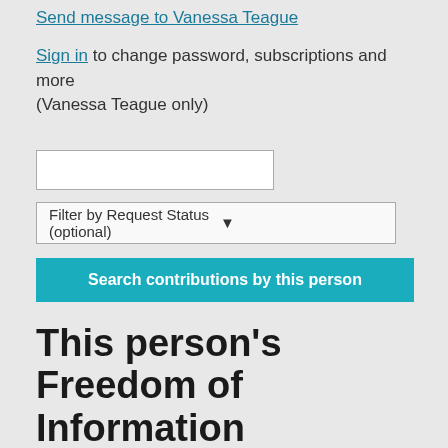Send message to Vanessa Teague
Sign in to change password, subscriptions and more (Vanessa Teague only)
[Figure (screenshot): Search input text box (empty)]
[Figure (screenshot): Dropdown filter: Filter by Request Status (optional)]
Search contributions by this person
This person's Freedom of Information requests (approximately 11)